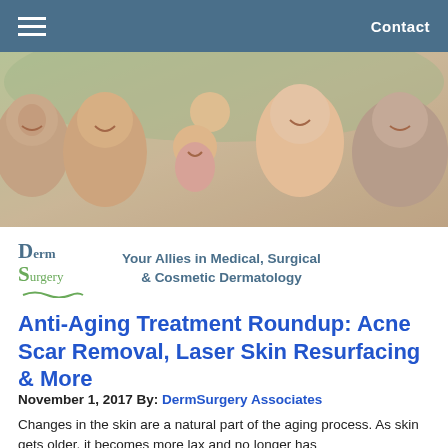Contact
[Figure (photo): Group of smiling multi-generational family members outdoors]
[Figure (logo): DermSurgery logo with tagline: Your Allies in Medical, Surgical & Cosmetic Dermatology]
Anti-Aging Treatment Roundup: Acne Scar Removal, Laser Skin Resurfacing & More
November 1, 2017 By: DermSurgery Associates
Changes in the skin are a natural part of the aging process. As skin gets older, it becomes more lax and no longer has